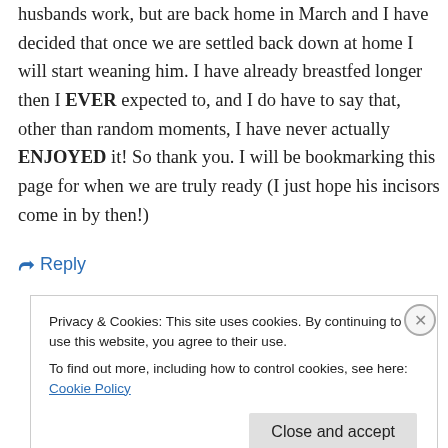husbands work, but are back home in March and I have decided that once we are settled back down at home I will start weaning him. I have already breastfed longer then I EVER expected to, and I do have to say that, other than random moments, I have never actually ENJOYED it! So thank you. I will be bookmarking this page for when we are truly ready (I just hope his incisors come in by then!)
↳ Reply
Privacy & Cookies: This site uses cookies. By continuing to use this website, you agree to their use.
To find out more, including how to control cookies, see here: Cookie Policy
Close and accept